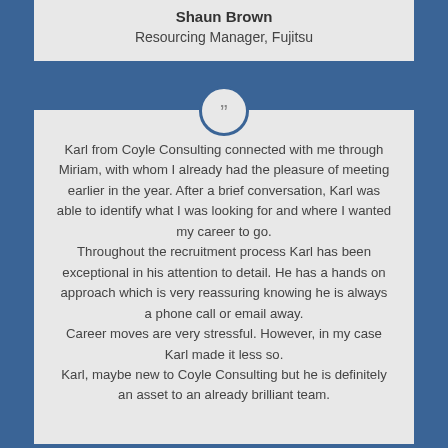Shaun Brown
Resourcing Manager, Fujitsu
Karl from Coyle Consulting connected with me through Miriam, with whom I already had the pleasure of meeting earlier in the year. After a brief conversation, Karl was able to identify what I was looking for and where I wanted my career to go. Throughout the recruitment process Karl has been exceptional in his attention to detail. He has a hands on approach which is very reassuring knowing he is always a phone call or email away. Career moves are very stressful. However, in my case Karl made it less so. Karl, maybe new to Coyle Consulting but he is definitely an asset to an already brilliant team.